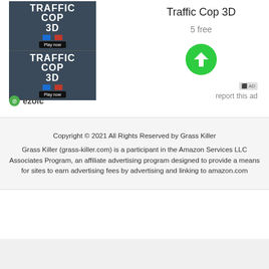[Figure (screenshot): Traffic Cop 3D game advertisement image showing game title with blue and red squares, and Play now button, repeated twice, with ezoic branding below]
Traffic Cop 3D
5 free
[Figure (illustration): Green circular download button with white downward arrow]
AD
report this ad
Copyright © 2021 All Rights Reserved by Grass Killer
Grass Killer (grass-killer.com) is a participant in the Amazon Services LLC Associates Program, an affiliate advertising program designed to provide a means for sites to earn advertising fees by advertising and linking to amazon.com